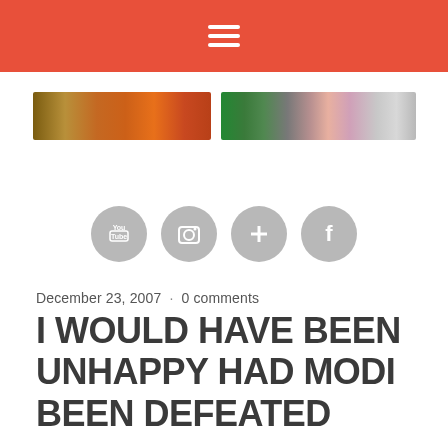Navigation menu header bar
[Figure (illustration): Website banner with collage of images including cultural and wildlife photos]
[Figure (infographic): Four circular social media icons (YouTube, Instagram, Google+, Facebook) in gray]
December 23, 2007 · 0 comments
I WOULD HAVE BEEN UNHAPPY HAD MODI BEEN DEFEATED